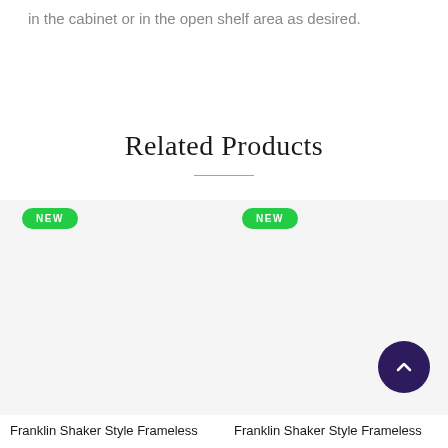in the cabinet or in the open shelf area as desired.
Related Products
Franklin Shaker Style Frameless
Franklin Shaker Style Frameless